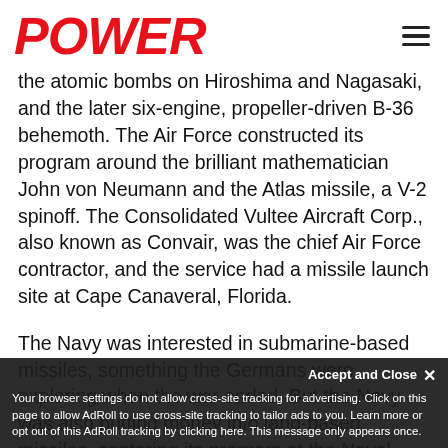POWER
the atomic bombs on Hiroshima and Nagasaki, and the later six-engine, propeller-driven B-36 behemoth. The Air Force constructed its program around the brilliant mathematician John von Neumann and the Atlas missile, a V-2 spinoff. The Consolidated Vultee Aircraft Corp., also known as Convair, was the chief Air Force contractor, and the service had a missile launch site at Cape Canaveral, Florida.
The Navy was interested in submarine-based missiles, something the Germans were exploring when the war ended. But the Navy was also putting money into land-based missiles, centering its program at the Naval Research Laboratory outside Washington, DC, around the ill-fated Vanguard rocket. The liquid-fueled-
Your browser settings do not allow cross-site tracking for advertising. Click on this page to allow AdRoll to use cross-site tracking to tailor ads to you. Learn more or opt out of this AdRoll tracking by clicking here. This message only appears once.